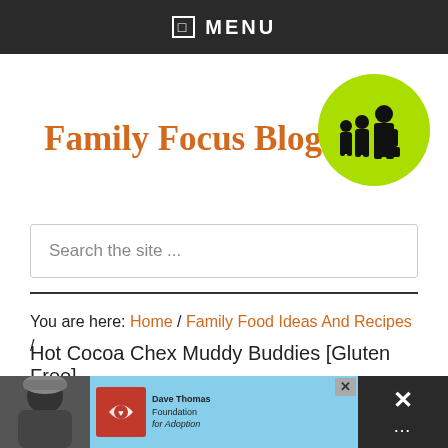MENU
[Figure (logo): Family Focus Blog logo with orange serif text and green circle containing black family silhouettes]
Search the site ...
You are here: Home / Family Food Ideas And Recipes / Hot Cocoa Chex Muddy Buddies [Gluten Free]
[Figure (screenshot): Advertisement bar at bottom with photo of person in winter hat, blue background, Dave Thomas Foundation for Adoption logo, close button, and dark panel with X mark]